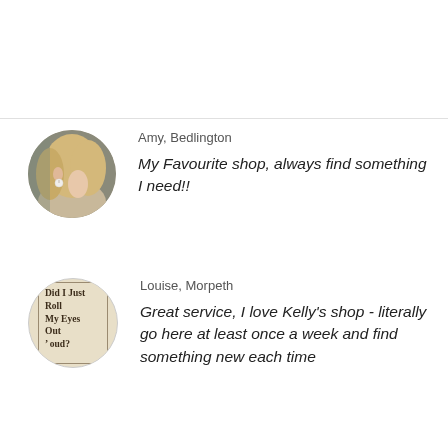[Figure (illustration): Circular avatar photo of a woman with blonde hair wearing a pearl earring, seen from behind/side]
Amy, Bedlington
My Favourite shop, always find something I need!!
[Figure (photo): Circular avatar showing a novelty sign reading 'Did I Just Roll My Eyes Out Loud?']
Louise, Morpeth
Great service, I love Kelly's shop - literally go here at least once a week and find something new each time